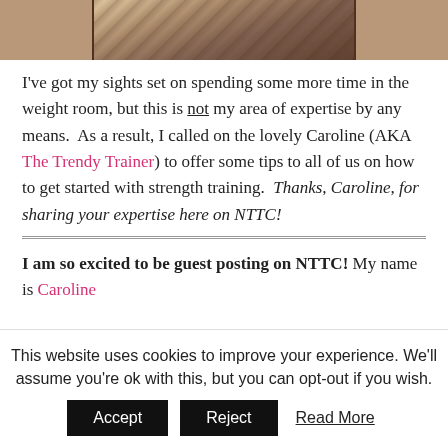[Figure (photo): Partial photo visible at top of page, cropped — appears to show a shelf or wooden surface with objects on it]
I've got my sights set on spending some more time in the weight room, but this is not my area of expertise by any means.  As a result, I called on the lovely Caroline (AKA The Trendy Trainer) to offer some tips to all of us on how to get started with strength training.  Thanks, Caroline, for sharing your expertise here on NTTC!
I am so excited to be guest posting on NTTC! My name is Caroline...
This website uses cookies to improve your experience. We'll assume you're ok with this, but you can opt-out if you wish.